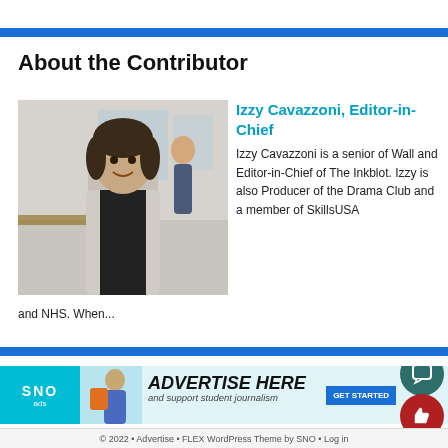About the Contributor
[Figure (photo): Photo of Izzy Cavazzoni, a young woman with short dark hair, smiling, wearing a light denim jacket, standing in what appears to be a school newsroom.]
Izzy Cavazzoni, Editor-in-Chief
Izzy Cavazzoni is a senior of Wall and Editor-in-Chief of The Inkblot. Izzy is also Producer of the Drama Club and a member of SkillsUSA and NHS. When...
[Figure (infographic): SNO Ads advertisement banner: ADVERTISE HERE and support student journalism, with GET STARTED button.]
© 2022 • Advertise • FLEX WordPress Theme by SNO • Log in